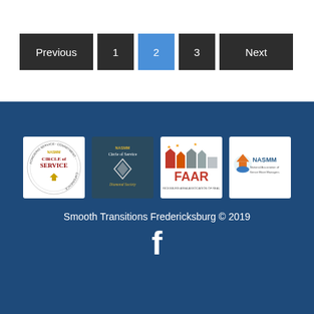Previous | 1 | 2 (active) | 3 | Next
[Figure (logo): NASMM Circle of Service badge logo]
[Figure (logo): NASMM Circle of Service Diamond Society badge logo]
[Figure (logo): FAAR Fredericksburg Area Association of Realtors logo]
[Figure (logo): NASMM National Association of Senior Move Managers logo]
Smooth Transitions Fredericksburg © 2019
[Figure (other): Facebook icon]